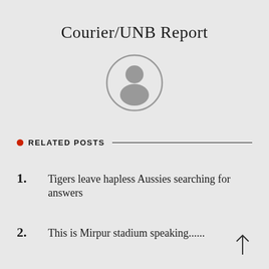Courier/UNB Report
[Figure (illustration): Generic user avatar icon — a circular outline containing a grey silhouette of a person (head and shoulders)]
RELATED POSTS
1. Tigers leave hapless Aussies searching for answers
2. This is Mirpur stadium speaking......